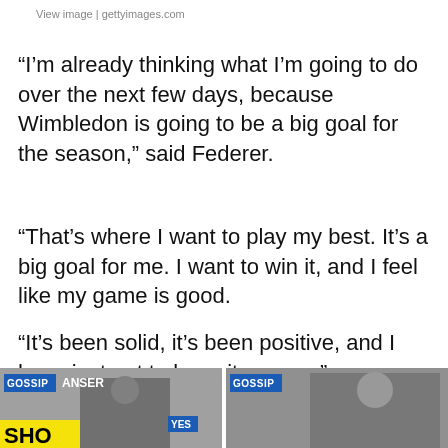View image | gettyimages.com
“I’m already thinking what I’m going to do over the next few days, because Wimbledon is going to be a big goal for the season,” said Federer.
“That’s where I want to play my best. It’s a big goal for me. I want to win it, and I feel like my game is good.
“It’s been solid, it’s been positive, and I have just got to keep it up now.”
[Figure (photo): Two thumbnail images at the bottom of the page, each labeled GOSSIP. Left image shows a man with yellow banner text SHO and text ANSER. Right image shows a person in athletic wear.]